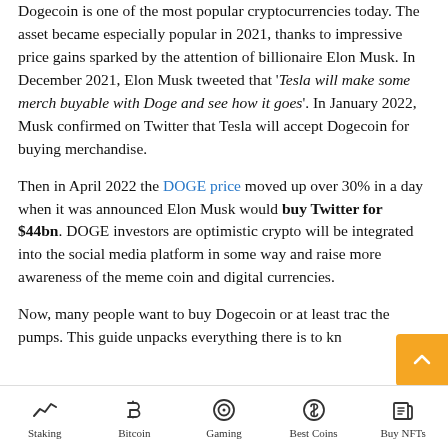Dogecoin is one of the most popular cryptocurrencies today. The asset became especially popular in 2021, thanks to impressive price gains sparked by the attention of billionaire Elon Musk. In December 2021, Elon Musk tweeted that 'Tesla will make some merch buyable with Doge and see how it goes'. In January 2022, Musk confirmed on Twitter that Tesla will accept Dogecoin for buying merchandise.
Then in April 2022 the DOGE price moved up over 30% in a day when it was announced Elon Musk would buy Twitter for $44bn. DOGE investors are optimistic crypto will be integrated into the social media platform in some way and raise more awareness of the meme coin and digital currencies.
Now, many people want to buy Dogecoin or at least trade the pumps. This guide unpacks everything there is to kn...
Staking | Bitcoin | Gaming | Best Coins | Buy NFTs